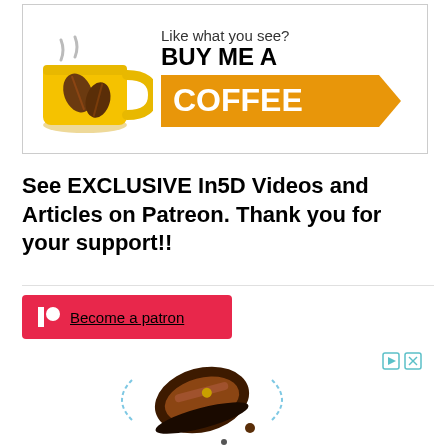[Figure (illustration): Buy Me A Coffee banner with yellow coffee mug and orange arrow banner with white text 'COFFEE'. Above reads 'Like what you see?' and bold 'BUY ME A']
See EXCLUSIVE In5D Videos and Articles on Patreon. Thank you for your support!!
[Figure (illustration): Patreon red button with circle icon and 'Become a patron' underlined link]
[Figure (photo): Advertisement showing brown leather shoe/sandal spinning with motion blur arrows, ad control icons (play and close) in top right]